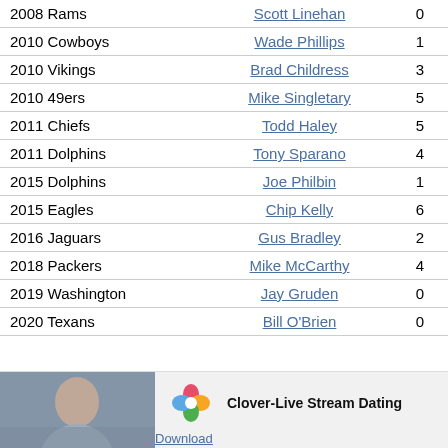| Year/Team | Coach | W | L | Result |
| --- | --- | --- | --- | --- |
| 2008 Rams | Scott Linehan | 0 | 4 | W 19-17 |
| 2010 Cowboys | Wade Phillips | 1 | 7 | W 33-20 |
| 2010 Vikings | Brad Childress | 3 | 7 | W 17-13 |
| 2010 49ers | Mike Singletary | 5 | 10 | W 38-7 |
| 2011 Chiefs | Todd Haley | 5 | 8 | W 14-19 |
| 2011 Dolphins | Tony Sparano | 4 | 9 | W 30-23 |
| 2015 Dolphins | Joe Philbin | 1 | 3 | W 38-10 |
| 2015 Eagles | Chip Kelly | 6 | 9 | W 35-30 |
| 2016 Jaguars | Gus Bradley | 2 | 12 | W 38-17 |
| 2018 Packers | Mike McCarthy | 4 | 7 | W 34-20 |
| 2019 Washington | Jay Gruden | 0 | 5 | W 17-16 |
| 2020 Texans | Bill O'Brien | 0 | 4 | W 30-14 |
[Figure (infographic): Advertisement banner: Clover-Live Stream Dating app ad with woman photo, clover heart logo icon, app name and Download link.]